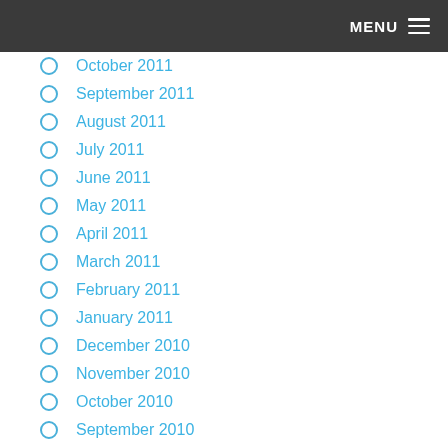MENU
October 2011
September 2011
August 2011
July 2011
June 2011
May 2011
April 2011
March 2011
February 2011
January 2011
December 2010
November 2010
October 2010
September 2010
August 2010
July 2010